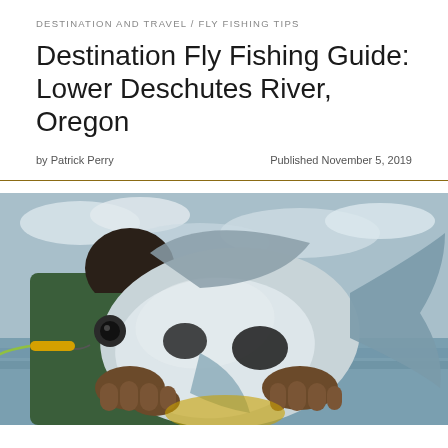DESTINATION AND TRAVEL / FLY FISHING TIPS
Destination Fly Fishing Guide: Lower Deschutes River, Oregon
by Patrick Perry   Published November 5, 2019
[Figure (photo): A person holding a large silver permit fish with a yellow-tipped lure in its mouth, with ocean and cloudy sky in the background.]